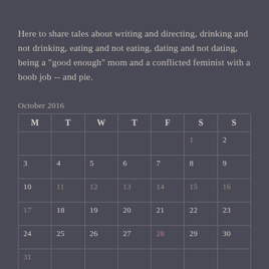Here to share tales about writing and directing, drinking and not drinking, eating and not eating, dating and not dating, being a "good enough" mom and a conflicted feminist with a boob job -- and pie.
October 2016
| M | T | W | T | F | S | S |
| --- | --- | --- | --- | --- | --- | --- |
|  |  |  |  |  | 1 | 2 |
| 3 | 4 | 5 | 6 | 7 | 8 | 9 |
| 10 | 11 | 12 | 13 | 14 | 15 | 16 |
| 17 | 18 | 19 | 20 | 21 | 22 | 23 |
| 24 | 25 | 26 | 27 | 28 | 29 | 30 |
| 31 |  |  |  |  |  |  |